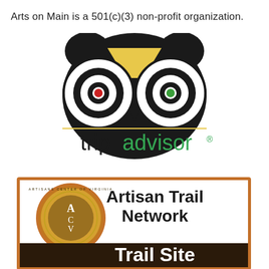Arts on Main is a 501(c)(3) non-profit organization.
[Figure (logo): TripAdvisor owl logo with the word 'tripadvisor' in black and green text with registered trademark symbol]
[Figure (logo): Artisan Trail Network Trail Site badge with Artisans Center of Virginia circular seal on the left and 'Artisan Trail Network Trail Site' text on the right with orange border and dark brown/black bar at bottom]